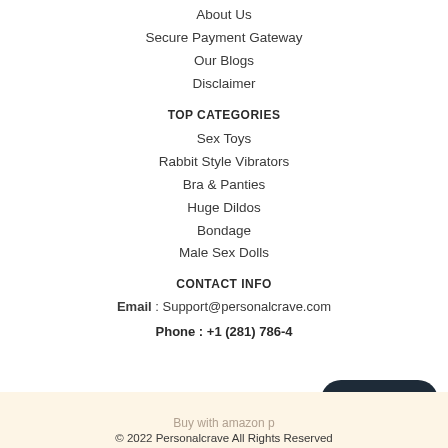About Us
Secure Payment Gateway
Our Blogs
Disclaimer
TOP CATEGORIES
Sex Toys
Rabbit Style Vibrators
Bra & Panties
Huge Dildos
Bondage
Male Sex Dolls
CONTACT INFO
Email : Support@personalcrave.com
Phone : +1 (281) 786-4…
[Figure (other): Chat with us button overlay]
Buy with amazon p…
© 2022 Personalcrave All Rights Reserved